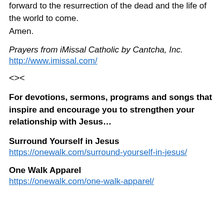forward to the resurrection of the dead and the life of the world to come.
Amen.
Prayers from iMissal Catholic by Cantcha, Inc.
http://www.imissal.com/
<><
For devotions, sermons, programs and songs that inspire and encourage you to strengthen your relationship with Jesus…
Surround Yourself in Jesus
https://onewalk.com/surround-yourself-in-jesus/
One Walk Apparel
https://onewalk.com/one-walk-apparel/